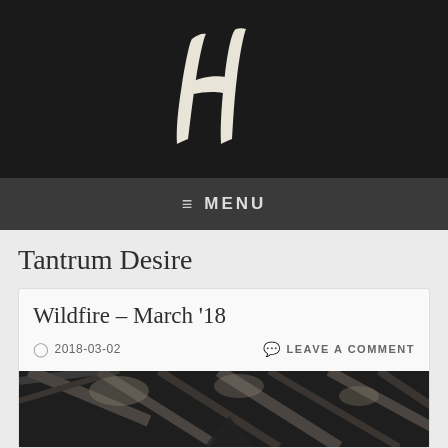[Figure (logo): White handwritten/brushstroke letter H logo on black background]
≡ MENU
Tantrum Desire
Wildfire – March '18
2018-03-02   LEAVE A COMMENT
[Figure (photo): Dark abstract photo with diagonal lines, possibly trees or branches, with a triangular shape visible at bottom center]